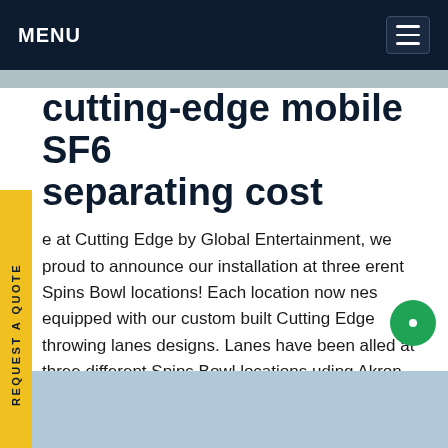MENU
[Figure (photo): Top image strip showing an outdoor industrial/electrical scene]
cutting-edge mobile SF6 separating cost
e at Cutting Edge by Global Entertainment, we proud to announce our installation at three erent Spins Bowl locations! Each location now nes equipped with our custom built Cutting Edge throwing lanes designs. Lanes have been alled at three different Spins Bowl locations uding Akron, OH, Independence, OH, and terford, MI.Get price
[Figure (photo): Bottom image showing electrical utility infrastructure with insulators and equipment against a blue sky]